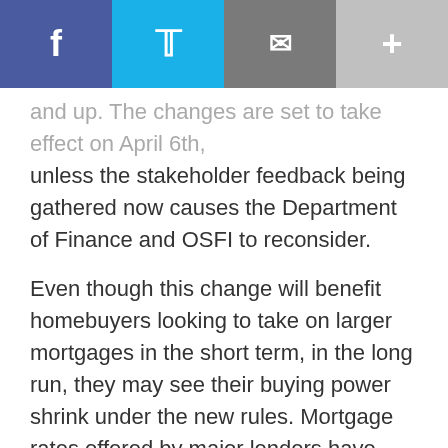[Figure (other): Social media sharing bar with Facebook, Twitter, email, and plus buttons]
and up. The changes are set to take effect on April 6th, unless the stakeholder feedback being gathered now causes the Department of Finance and OSFI to reconsider.
Even though this change will benefit homebuyers looking to take on larger mortgages in the short term, in the long run, they may see their buying power shrink under the new rules. Mortgage rates offered by major lenders have declined over the last year and a half, making the current median rate used to qualify mortgage applicants under the stress test lower than the benchmark rate.
However, an analysis by Capital Economics found that